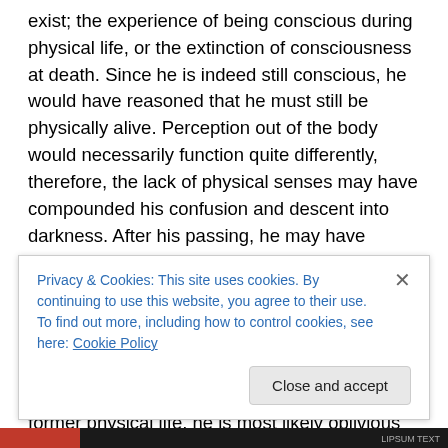exist; the experience of being conscious during physical life, or the extinction of consciousness at death. Since he is indeed still conscious, he would have reasoned that he must still be physically alive. Perception out of the body would necessarily function quite differently, therefore, the lack of physical senses may have compounded his confusion and descent into darkness. After his passing, he may have completely disregarded the flurry of activity around his death as a dream or even changed the narrative to fit his beliefs, such as identifying the body as belonging to someone else (something that often happens in NDEs). Since his focus remains oriented toward his former physical life, he is most likely oblivious to any...
Privacy & Cookies: This site uses cookies. By continuing to use this website, you agree to their use.
To find out more, including how to control cookies, see here: Cookie Policy